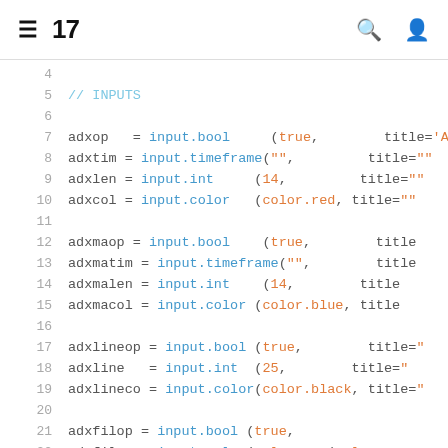TradingView navigation bar with hamburger menu, logo (17), search icon, and user icon
[Figure (screenshot): Code editor showing Pine Script code with line numbers 4-24, variable assignments using input.bool, input.timeframe, input.int, input.color functions with parameters including true, color.red, color.blue, color.black, color.aqua]